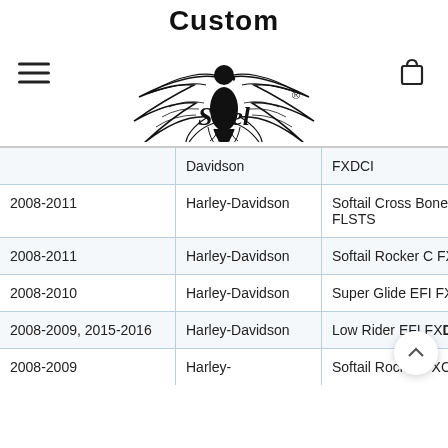[Figure (logo): Custom Steel brand logo with eagle graphic and registered trademark symbol]
| Year | Make | Model |
| --- | --- | --- |
|  | Davidson | FXDCI |
| 2008-2011 | Harley-Davidson | Softail Cross Bones FLSTS |
| 2008-2011 | Harley-Davidson | Softail Rocker C FXCWC |
| 2008-2010 | Harley-Davidson | Super Glide EFI FXDI |
| 2008-2009, 2015-2016 | Harley-Davidson | Low Rider EFI FXDL |
| 2008-2009 | Harley- | Softail Rocker FXCW |